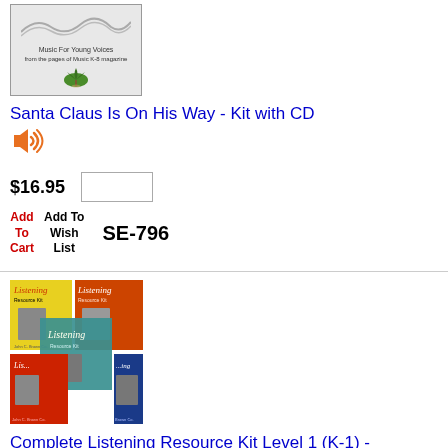[Figure (photo): Book cover for Music For Young Voices with wave graphic and tree logo]
Santa Claus Is On His Way - Kit with CD
[Figure (other): Audio speaker icon indicating audio sample available]
$16.95
Add To Cart   Add To Wish List   SE-796
[Figure (photo): Collection of Listening Resource Kit books with colorful covers in yellow, orange, teal, red, and blue]
Complete Listening Resource Kit Level 1 (K-1) - Book/Online Audio Access